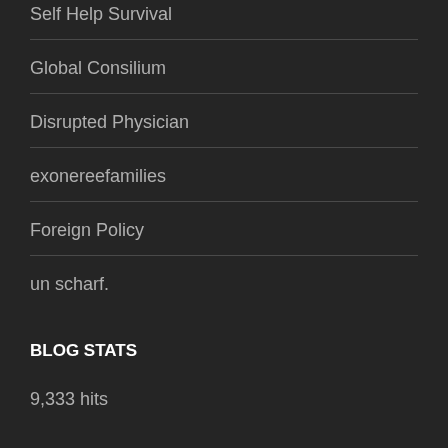Self Help Survival
Global Consilium
Disrupted Physician
exonereefamilies
Foreign Policy
un scharf.
BLOG STATS
9,333 hits